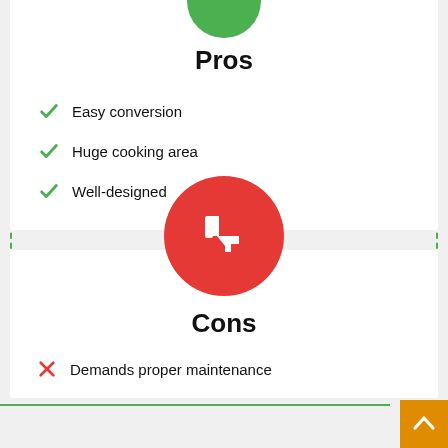Pros
Easy conversion
Huge cooking area
Well-designed
Cons
Demands proper maintenance